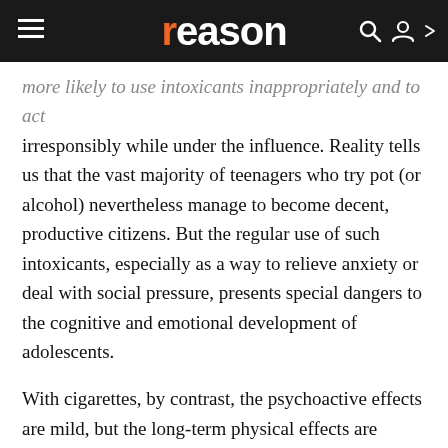reason
more likely to use intoxicants inappropriately and to act irresponsibly while under the influence. Reality tells us that the vast majority of teenagers who try pot (or alcohol) nevertheless manage to become decent, productive citizens. But the regular use of such intoxicants, especially as a way to relieve anxiety or deal with social pressure, presents special dangers to the cognitive and emotional development of adolescents.
With cigarettes, by contrast, the psychoactive effects are mild, but the long-term physical effects are substantial. Given the difficulty of quitting and the serious health hazards involved, it is reasonable to put cigarette smoking in the same category as enlisting in the Army, getting married, and other risky decisions that are reserved for adults. The difference in maturity between a 16-year-old and an 18-year-old should not be exaggerated, but a